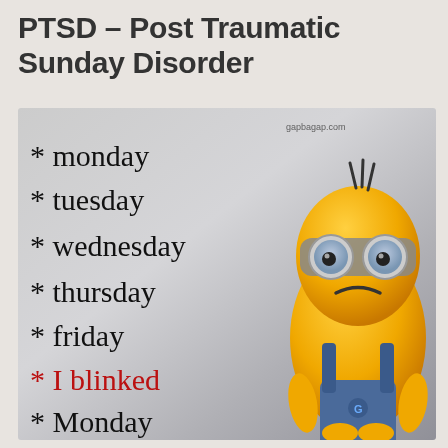PTSD – Post Traumatic Sunday Disorder
[Figure (illustration): Meme image with gray gradient background showing days of the week listed with asterisks: monday, tuesday, wednesday, thursday, friday, I blinked (in red), Monday. A cartoon Minion character with goggles and dungarees stands on the right side looking tired/sad. Watermark reads gapbagap.com]